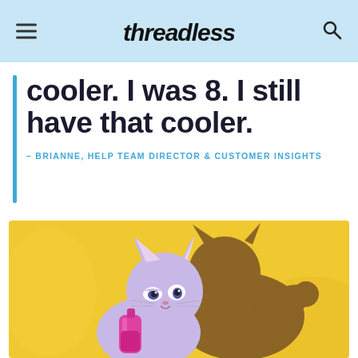threadless
cooler. I was 8. I still have that cooler.
– BRIANNE, HELP TEAM DIRECTOR & CUSTOMER INSIGHTS
[Figure (illustration): Cartoon cat character drinking from a pink bottle, with a dark shadow behind it on a yellow background. The cat is lavender/light purple colored with expressive eyes, in an animated style reminiscent of classic cartoons.]